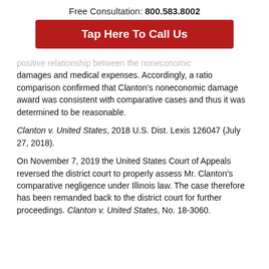Free Consultation: 800.583.8002
Tap Here To Call Us
positive relationship between the noneconomic damages and medical expenses. Accordingly, a ratio comparison confirmed that Clanton’s noneconomic damage award was consistent with comparative cases and thus it was determined to be reasonable.
Clanton v. United States, 2018 U.S. Dist. Lexis 126047 (July 27, 2018).
On November 7, 2019 the United States Court of Appeals reversed the district court to properly assess Mr. Clanton’s comparative negligence under Illinois law. The case therefore has been remanded back to the district court for further proceedings. Clanton v. United States, No. 18-3060.